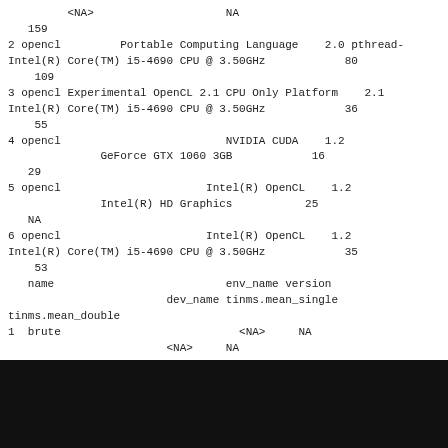<NA>                    NA
   159
2 opencl         Portable Computing Language    2.0 pthread-
Intel(R) Core(TM) i5-4690 CPU @ 3.50GHz            80
    109
3 opencl Experimental OpenCL 2.1 CPU Only Platform    2.1
Intel(R) Core(TM) i5-4690 CPU @ 3.50GHz            36
    55
4 opencl                         NVIDIA CUDA    1.2
              GeForce GTX 1060 3GB            16
   29
5 opencl                      Intel(R) OpenCL    1.2
              Intel(R) HD Graphics           25
   NA
6 opencl                      Intel(R) OpenCL    1.2
Intel(R) Core(TM) i5-4690 CPU @ 3.50GHz            35
    53
   name                          env_name version
                        dev_name tinms.mean_single
tinms.mean_double
1  brute                           <NA>     NA
                        <NA>     NA
   812
2 opencl         Portable Computing Language    2.0 pthread-
Intel(R) Core(TM) i5-4690 CPU @ 3.50GHz            618